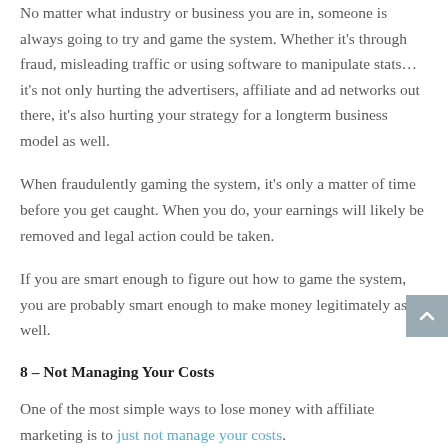No matter what industry or business you are in, someone is always going to try and game the system. Whether it's through fraud, misleading traffic or using software to manipulate stats… it's not only hurting the advertisers, affiliate and ad networks out there, it's also hurting your strategy for a longterm business model as well.
When fraudulently gaming the system, it's only a matter of time before you get caught. When you do, your earnings will likely be removed and legal action could be taken.
If you are smart enough to figure out how to game the system, you are probably smart enough to make money legitimately as well.
8 – Not Managing Your Costs
One of the most simple ways to lose money with affiliate marketing is to just not manage your costs.